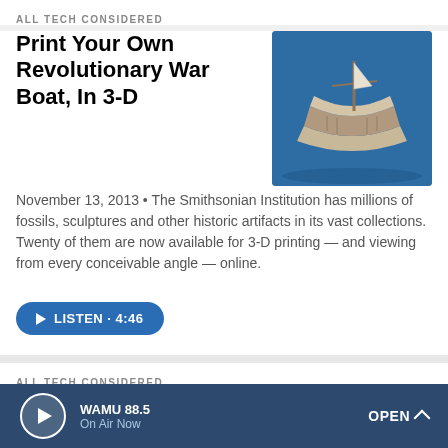ALL TECH CONSIDERED
Print Your Own Revolutionary War Boat, In 3-D
[Figure (photo): 3D rendered image of a historical wooden boat on blue background]
November 13, 2013 • The Smithsonian Institution has millions of fossils, sculptures and other historic artifacts in its vast collections. Twenty of them are now available for 3-D printing — and viewing from every conceivable angle — online.
LISTEN · 4:46
ALL TECH CONSIDERED
(Don't) Pardon Me: One Man's Fight Against Distracted Walking
[Figure (photo): Photo of people walking on a busy street, with a woman looking at her phone]
WAMU 88.5
On Air Now
OPEN ^